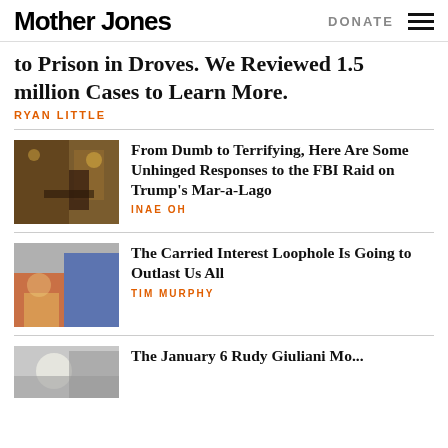Mother Jones | DONATE
to Prison in Droves. We Reviewed 1.5 million Cases to Learn More.
RYAN LITTLE
[Figure (photo): Interior of Mar-a-Lago with Trump standing at podium in ornate golden room]
From Dumb to Terrifying, Here Are Some Unhinged Responses to the FBI Raid on Trump's Mar-a-Lago
INAE OH
[Figure (photo): Woman in floral dress and man in blue suit at an event]
The Carried Interest Loophole Is Going to Outlast Us All
TIM MURPHY
[Figure (photo): Person at microphone, blurred background]
The January 6 Rudy Giuliani Mo...